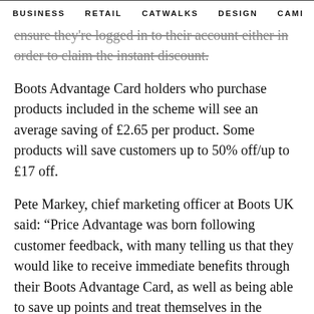BUSINESS   RETAIL   CATWALKS   DESIGN   CAMI  >
ensure they're logged in to their account either in order to claim the instant discount.
Boots Advantage Card holders who purchase products included in the scheme will see an average saving of £2.65 per product. Some products will save customers up to 50% off/up to £17 off.
Pete Markey, chief marketing officer at Boots UK said: “Price Advantage was born following customer feedback, with many telling us that they would like to receive immediate benefits through their Boots Advantage Card, as well as being able to save up points and treat themselves in the future.